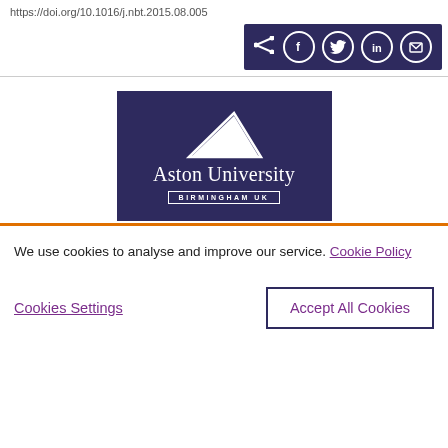https://doi.org/10.1016/j.nbt.2015.08.005
[Figure (other): Social share bar with share icon, Facebook, Twitter, LinkedIn, and email icons on dark navy background]
[Figure (logo): Aston University Birmingham UK logo — white triangle/arrow mark above white text 'Aston University' with 'BIRMINGHAM UK' in a white-bordered box, on navy/dark purple background]
We use cookies to analyse and improve our service. Cookie Policy
Cookies Settings
Accept All Cookies